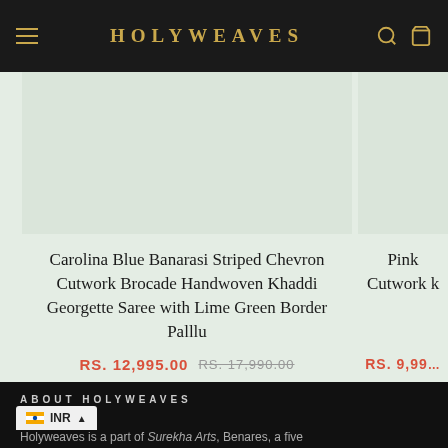HOLYWEAVES
[Figure (photo): Product image area for Carolina Blue Banarasi Saree — light green/mint background placeholder]
Carolina Blue Banarasi Striped Chevron Cutwork Brocade Handwoven Khaddi Georgette Saree with Lime Green Border Palllu
RS. 12,995.00  RS. 17,990.00
[Figure (photo): Partial product image area for Pink Cutwork saree — light green/mint background placeholder]
Pink Cutwork k...
RS. 9,99...
ABOUT HOLYWEAVES
🇮🇳 INR ▲
Holyweaves is a part of Surekha Arts, Benares, a five